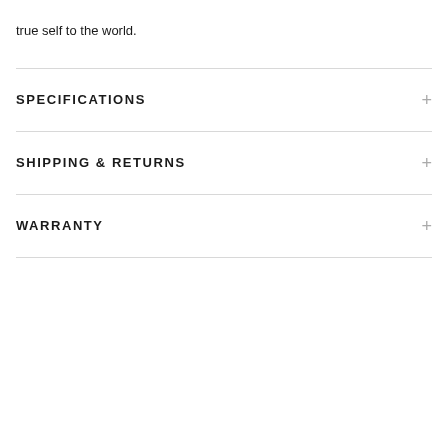true self to the world.
SPECIFICATIONS
SHIPPING & RETURNS
WARRANTY